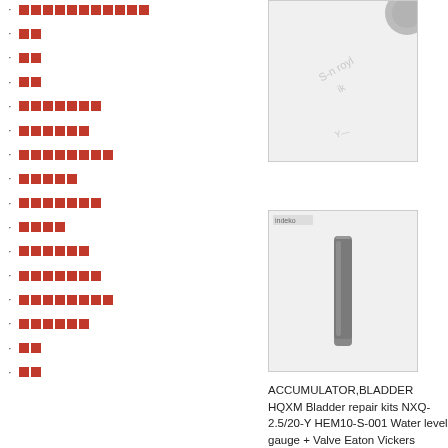███████████
██
██
██
███████
███████
████████
█████
███████
█████
███████
████████
█████████
██████
██
██
[Figure (photo): Product image top - engineering component partially visible]
[Figure (photo): Product image - cylindrical filter or rod component]
ACCUMULATOR,BLADDER HQXM Bladder repair kits NXQ-2.5/20-Y HEM10-S-001 Water level gauge + Valve Eaton Vickers SM/40-10-S18 Regenerating/Circulating Pump Su 2L4498 Globe Check Valve LJC10 Coil 042N0841 Push button ZB4B2 4WE10C31B/CW22050N9Z5L SER LVDT FOR HP Quick closing Valve WZPK2-233 BLADDER NXQ-AB-4 02D10V/-W RAPPING BOARD DH TEMPERATURE INDICATOR BWR Suction Filter HQ25.600.12Z Dong Power plants, including Steam turb pads, Filters, Filter elements, Hydr